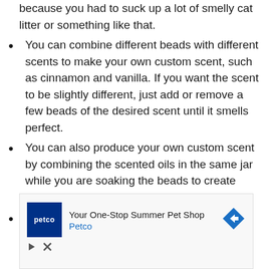because you had to suck up a lot of smelly cat litter or something like that.
You can combine different beads with different scents to make your own custom scent, such as cinnamon and vanilla. If you want the scent to be slightly different, just add or remove a few beads of the desired scent until it smells perfect.
You can also produce your own custom scent by combining the scented oils in the same jar while you are soaking the beads to create them to begin with.
When your beads start to lose their
[Figure (other): Petco advertisement banner: 'Your One-Stop Summer Pet Shop' with Petco logo and blue arrow icon, along with play and close controls below.]